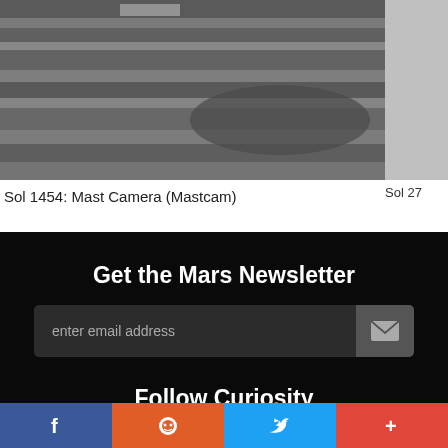[Figure (photo): Grayscale NASA Curiosity rover Mastcam photo showing layered rock formations on Mars surface]
Sol 27
Sol 1454: Mast Camera (Mastcam)
Get the Mars Newsletter
enter email address
Follow Curiosity
f   reddit   Twitter   +